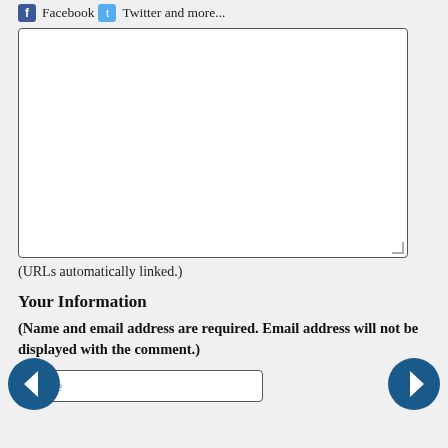Facebook Twitter and more...
[Figure (other): Comment text area input box (empty white box with resize handle)]
(URLs automatically linked.)
Your Information
(Name and email address are required. Email address will not be displayed with the comment.)
Name
[Figure (other): Left navigation arrow button (dark blue circle with white left arrow)]
[Figure (other): Right navigation arrow button (dark blue circle with white right arrow)]